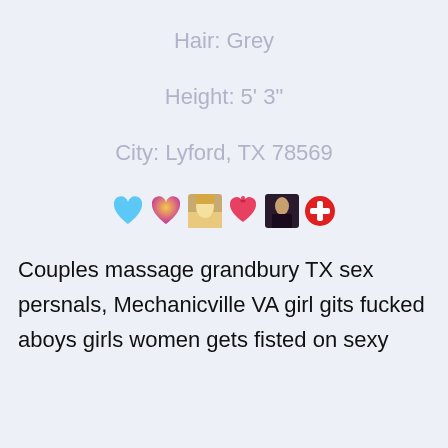Hair: Grey
Height: 5' 3"
City: Lyford, TX 78569
[Figure (illustration): Row of emoji icons: blue heart, yellow-orange heart, photo thumbnail, heart with ribbon, photo thumbnail, red circle with cross]
Couples massage grandbury TX sex persnals, Mechanicville VA girl gits fucked aboys girls women gets fisted on sexy